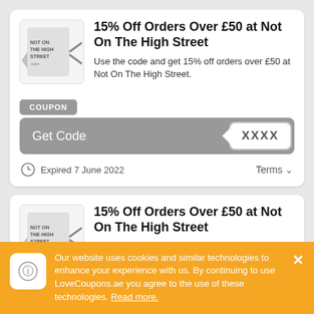[Figure (logo): Not On The High Street tag logo]
15% Off Orders Over £50 at Not On The High Street
Use the code and get 15% off orders over £50 at Not On The High Street.
COUPON
Get Code XXXX
Expired 7 June 2022
Terms ∨
[Figure (logo): Not On The High Street tag logo (second card)]
15% Off Orders Over £50 at Not On The High Street
Our website uses cookies and similar technologies to enhance your experience with us. By continuing to use LoveCoupons.ae you agree to the use of these technologies. Read more.